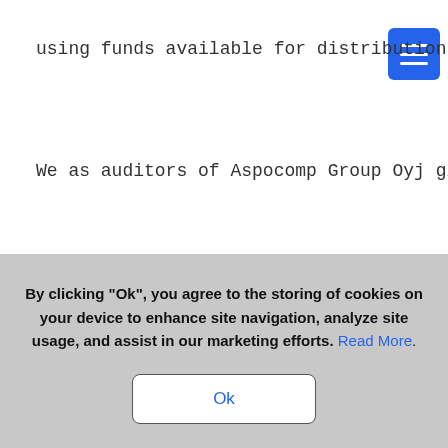using funds available for distribution o...
We as auditors of Aspocomp Group Oyj give the...
relating to this proposal of the Board of Dir...
The company may repurchase treasury shares by...
for distribution of profits. The decision to...
By clicking “Ok”, you agree to the storing of cookies on your device to enhance site navigation, analyze site usage, and assist in our marketing efforts. Read More.